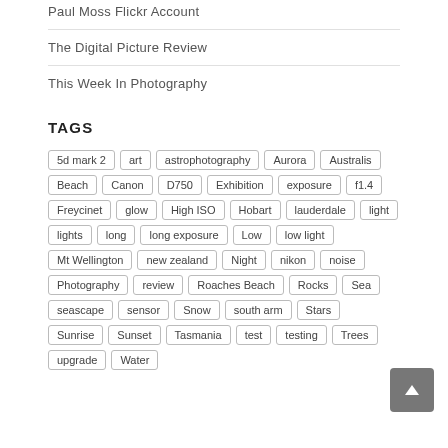Paul Moss Flickr Account
The Digital Picture Review
This Week In Photography
TAGS
5d mark 2, art, astrophotography, Aurora, Australis, Beach, Canon, D750, Exhibition, exposure, f1.4, Freycinet, glow, High ISO, Hobart, lauderdale, light, lights, long, long exposure, Low, low light, Mt Wellington, new zealand, Night, nikon, noise, Photography, review, Roaches Beach, Rocks, Sea, seascape, sensor, Snow, south arm, Stars, Sunrise, Sunset, Tasmania, test, testing, Trees, upgrade, Water